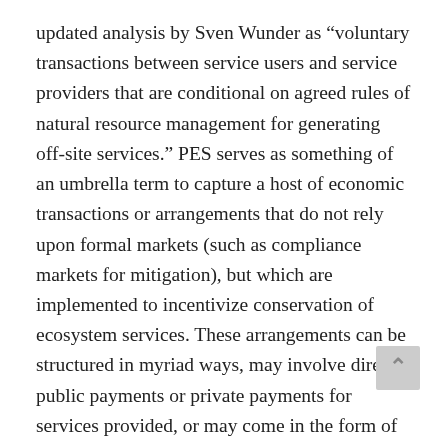updated analysis by Sven Wunder as “voluntary transactions between service users and service providers that are conditional on agreed rules of natural resource management for generating off-site services.” PES serves as something of an umbrella term to capture a host of economic transactions or arrangements that do not rely upon formal markets (such as compliance markets for mitigation), but which are implemented to incentivize conservation of ecosystem services. These arrangements can be structured in myriad ways, may involve direct public payments or private payments for services provided, or may come in the form of tax incentives, certification programs, or cap-and-trade schemes.
One of the most well-known PES programs is the USDA Conservation Reserve Program under the U.S. Farm Bill, where farmers are paid to remove ecologically sensitive